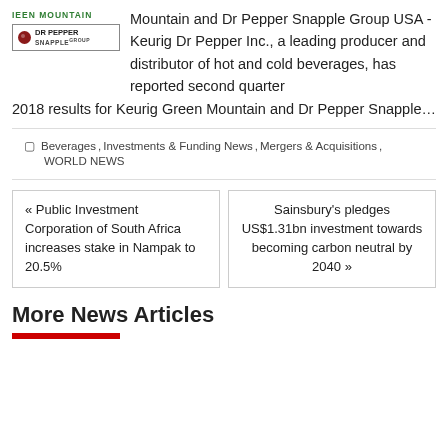[Figure (logo): Keurig Green Mountain and Dr Pepper Snapple Group logos]
Mountain and Dr Pepper Snapple Group USA - Keurig Dr Pepper Inc., a leading producer and distributor of hot and cold beverages, has reported second quarter 2018 results for Keurig Green Mountain and Dr Pepper Snapple…
Beverages, Investments & Funding News, Mergers & Acquisitions, WORLD NEWS
« Public Investment Corporation of South Africa increases stake in Nampak to 20.5%
Sainsbury's pledges US$1.31bn investment towards becoming carbon neutral by 2040 »
More News Articles